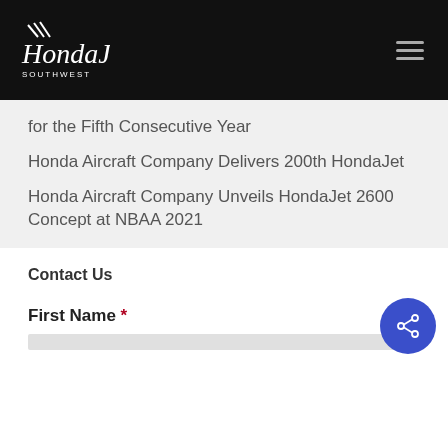HondaJet Southwest
for the Fifth Consecutive Year
Honda Aircraft Company Delivers 200th HondaJet
Honda Aircraft Company Unveils HondaJet 2600 Concept at NBAA 2021
Contact Us
First Name *